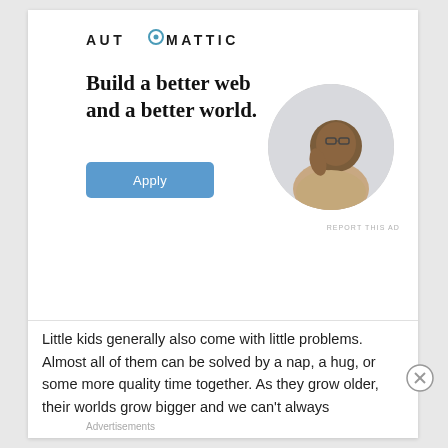[Figure (logo): Automattic logo with circular 'O' element in the wordmark]
Build a better web and a better world.
[Figure (photo): Circular portrait photo of a smiling Black man with glasses, wearing a beige t-shirt, looking upward thoughtfully with hand near chin]
REPORT THIS AD
Apply
Little kids generally also come with little problems. Almost all of them can be solved by a nap, a hug, or some more quality time together. As they grow older, their worlds grow bigger and we can't always
Advertisements